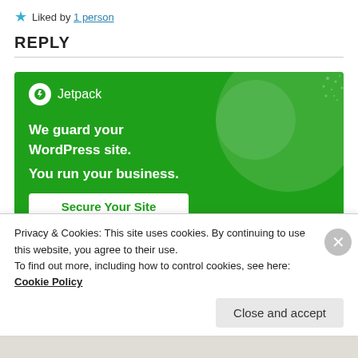★ Liked by 1 person
REPLY
[Figure (screenshot): Jetpack advertisement banner with green background showing logo, tagline 'We guard your WordPress site. You run your business.' and 'Secure Your Site' button]
Privacy & Cookies: This site uses cookies. By continuing to use this website, you agree to their use.
To find out more, including how to control cookies, see here: Cookie Policy
Close and accept